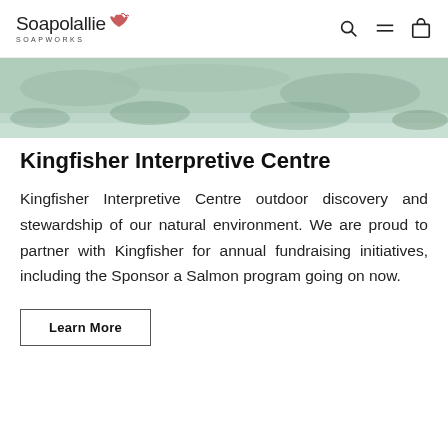Soapolallie SOAPWORKS
[Figure (photo): Outdoor nature scene, greenery and water, hero banner image strip]
Kingfisher Interpretive Centre
Kingfisher Interpretive Centre outdoor discovery and stewardship of our natural environment. We are proud to partner with Kingfisher for annual fundraising initiatives, including the Sponsor a Salmon program going on now.
Learn More